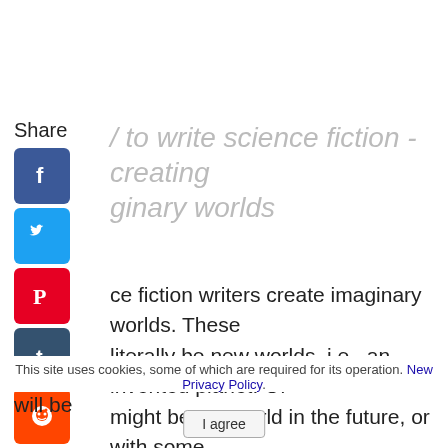Share
/ to write science fiction - creating ginary worlds
ce fiction writers create imaginary worlds. These literally be new worlds, i.e., an invented planet. Or might be our world in the future, or with some ations (for example, that humans have evolved to he underwater).
The way things work in your imaginary worlds will be
This site uses cookies, some of which are required for its operation. New Privacy Policy.
I agree